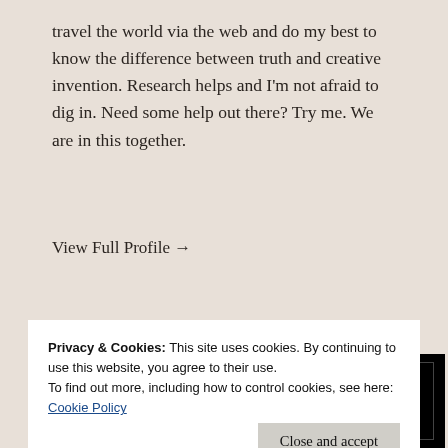travel the world via the web and do my best to know the difference between truth and creative invention. Research helps and I'm not afraid to dig in. Need some help out there? Try me. We are in this together.
View Full Profile →
Advertisements
[Figure (logo): Longreads advertisement banner — black background with red circle L logo and LONGREADS text in white on black with inner border]
Privacy & Cookies: This site uses cookies. By continuing to use this website, you agree to their use.
To find out more, including how to control cookies, see here: Cookie Policy
Close and accept